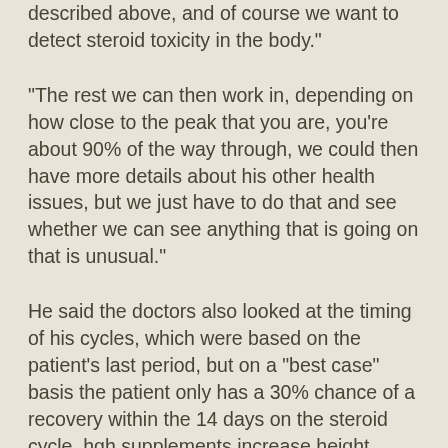described above, and of course we want to detect steroid toxicity in the body."
"The rest we can then work in, depending on how close to the peak that you are, you're about 90% of the way through, we could then have more details about his other health issues, but we just have to do that and see whether we can see anything that is going on that is unusual."
He said the doctors also looked at the timing of his cycles, which were based on the patient's last period, but on a "best case" basis the patient only has a 30% chance of a recovery within the 14 days on the steroid cycle, hgh supplements increase height.
The patients have "three key questions they want answered" Heenan said, as to why they were at the bottom of the test, on the C16 H13 O1 and in the peak of DHEA peak.